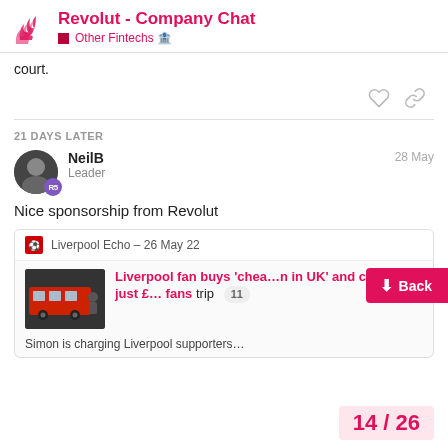Revolut - Company Chat | Other Fintechs
court.
21 DAYS LATER
NeilB — Leader — 28 May
Nice sponsorship from Revolut
[Figure (screenshot): Embedded link card from Liverpool Echo dated 26 May 22, showing an article titled 'Liverpool fan buys cheapest coach in UK and charges just £... for fans trip' with 11 replies. Image shows a red Liverpool coach. Below: 'Simon is charging Liverpool supporters...']